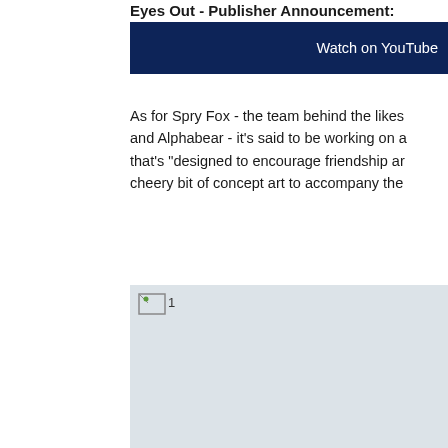Eyes Out - Publisher Announcement:
Watch on YouTube
As for Spry Fox - the team behind the likes and Alphabear - it's said to be working on a that's "designed to encourage friendship ar cheery bit of concept art to accompany the
[Figure (photo): Concept art image placeholder (image failed to load), showing a light blue-grey rectangle with broken image icon labeled '1']